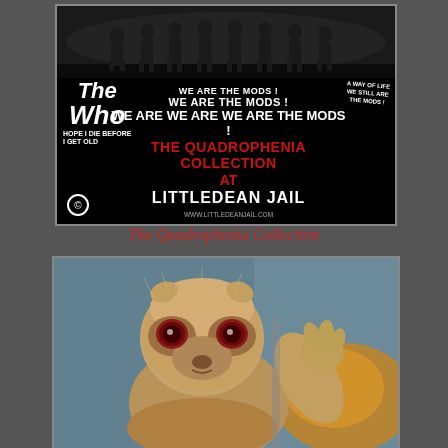[Figure (photo): The Who Quadrophenia Collection promotional poster for Littledean Jail. Black background with black-and-white photo of group of people at top. The Who logo on left. Text reads: WE ARE THE MODS! WE ARE THE MODS! WE ARE WE ARE WE ARE THE MODS! THE QUADROPHENIA COLLECTION AT LITTLEDEAN JAIL. Website www.littledeanjail.com shown at bottom. Copyright symbol bottom left. Text 'A WAY OF LIFE WE STILL ARE THE MODS!' on right side.]
The Quadrophenia Collection
[Figure (photo): Close-up photo of a strange-looking small furry animal (appears to be an exotic cat or similar creature) with large dark reddish eyes and raised paw/arm, photographed against a blurred background with warm orange/yellow light in the background.]